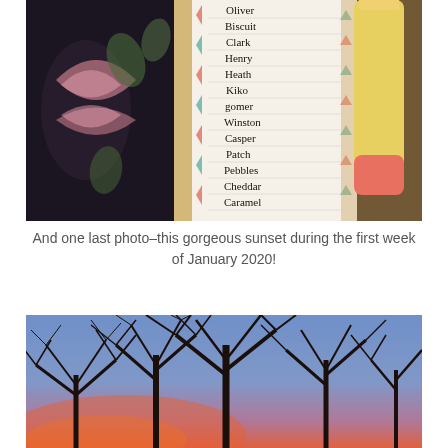[Figure (photo): A photo of a decorative floral notebook with butterfly motif on the left and a notepad on the right with a list of names written in handwriting: Oliver, Biscuit, Clark, Henry, Heath, Kiko, Gomer, Winston, Casper, Patch, Pebbles, Cheddar, Caramel. A yellow and pink pen/highlighter rests on top of the notepad.]
And one last photo–this gorgeous sunset during the first week of January 2020!
[Figure (photo): A photo of a winter sunset with bare tree silhouettes against a blue and pink/orange sky.]